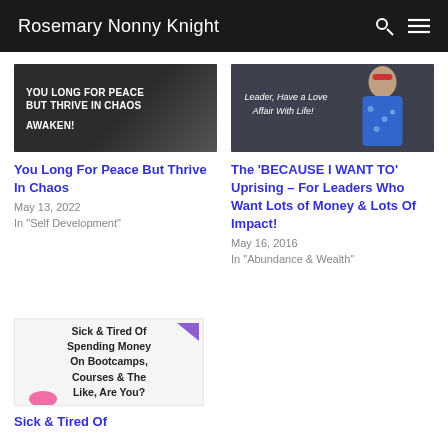Rosemary Nonny Knight
[Figure (photo): Dark background image with bold white text: YOU LONG FOR PEACE BUT THRIVE IN CHAOS AWAKEN!]
You Long For Peace But Thrive In Chaos
May 13, 2022
In "Self Development"
[Figure (photo): Dark background image with a woman in a blue floral dress and text: Leader, Have a Love Affair With Life!]
The ‘BECAUSE I WANT TO’ Uprising – For Leaders Who Want Lots of Money & Lots Of Impact!
May 16, 2016
In "Abundance & Wealth"
[Figure (photo): Light background image with bold text: Sick & Tired Of Spending Money On Bootcamps, Courses & The Like, Are You? With purple triangle and pink shape decorations.]
Sick & Tired Of